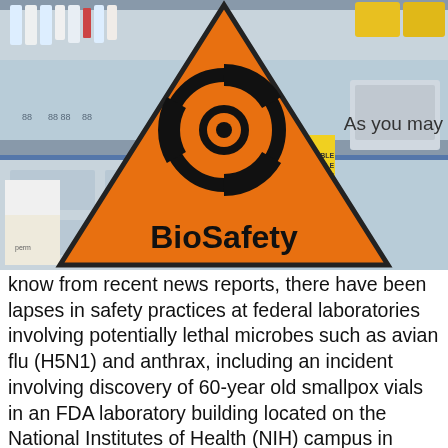[Figure (photo): Laboratory setting with equipment on counters and shelves, overlaid with an orange triangular biohazard warning sign reading 'BioSafety' and a biohazard symbol.]
As you may know from recent news reports, there have been lapses in safety practices at federal laboratories involving potentially lethal microbes such as avian flu (H5N1) and anthrax, including an incident involving discovery of 60-year old smallpox vials in an FDA laboratory building located on the National Institutes of Health (NIH) campus in Bethesda, MD. Such lapses, which undermine public confidence in biomedical research and could put people's health at risk, remind us of the need for constant attention to biosafety standards.
Scientists can never become complacent in routine